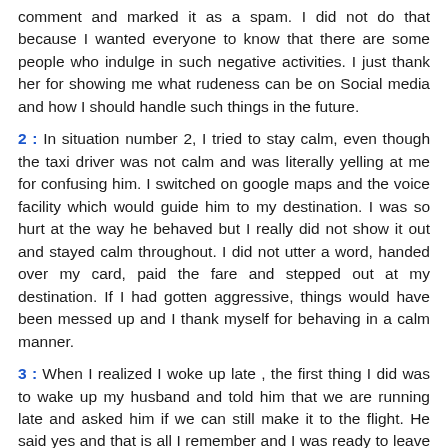comment and marked it as a spam. I did not do that because I wanted everyone to know that there are some people who indulge in such negative activities. I just thank her for showing me what rudeness can be on Social media and how I should handle such things in the future.
2 : In situation number 2, I tried to stay calm, even though the taxi driver was not calm and was literally yelling at me for confusing him. I switched on google maps and the voice facility which would guide him to my destination. I was so hurt at the way he behaved but I really did not show it out and stayed calm throughout. I did not utter a word, handed over my card, paid the fare and stepped out at my destination. If I had gotten aggressive, things would have been messed up and I thank myself for behaving in a calm manner.
3 : When I realized I woke up late , the first thing I did was to wake up my husband and told him that we are running late and asked him if we can still make it to the flight. He said yes and that is all I remember and I was ready to leave the house in 9 minutes which is the fastest time that I have ever